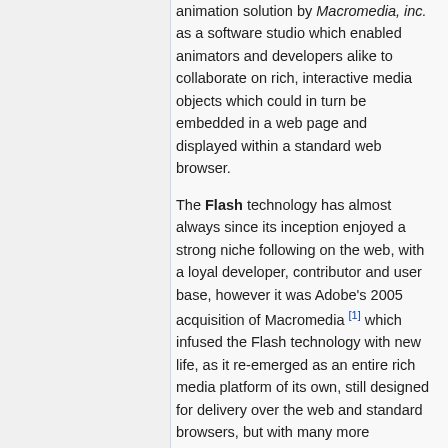animation solution by Macromedia, inc. as a software studio which enabled animators and developers alike to collaborate on rich, interactive media objects which could in turn be embedded in a web page and displayed within a standard web browser.
The Flash technology has almost always since its inception enjoyed a strong niche following on the web, with a loyal developer, contributor and user base, however it was Adobe's 2005 acquisition of Macromedia [1] which infused the Flash technology with new life, as it re-emerged as an entire rich media platform of its own, still designed for delivery over the web and standard browsers, but with many more capabilities and a larger scope. Entire applications could now be created using